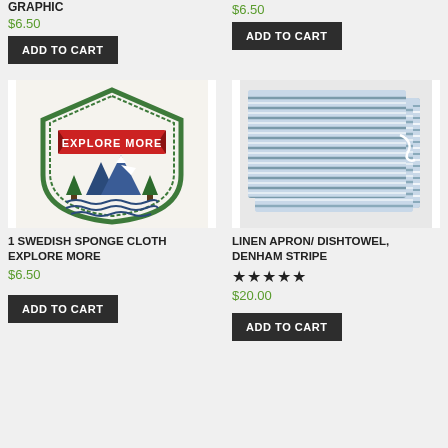GRAPHIC
$6.50
ADD TO CART
$6.50
ADD TO CART
[Figure (photo): Swedish sponge cloth with explore more badge design - shield shape with green border, red banner saying EXPLORE MORE, blue mountains and pine trees]
[Figure (photo): Linen apron/dishtowel in Denham stripe pattern - blue and white horizontal stripes, folded fabric stack]
1 SWEDISH SPONGE CLOTH EXPLORE MORE
$6.50
ADD TO CART
LINEN APRON/ DISHTOWEL, DENHAM STRIPE
★★★★★
$20.00
ADD TO CART